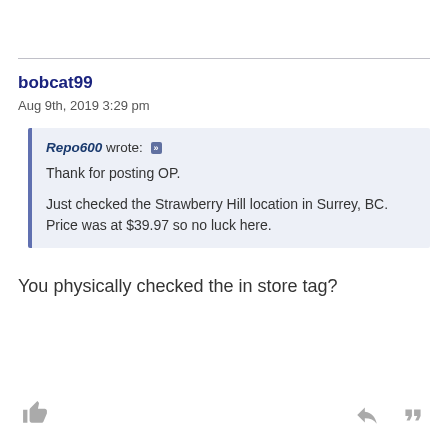bobcat99
Aug 9th, 2019 3:29 pm
Repo600 wrote: » Thank for posting OP. Just checked the Strawberry Hill location in Surrey, BC. Price was at $39.97 so no luck here.
You physically checked the in store tag?